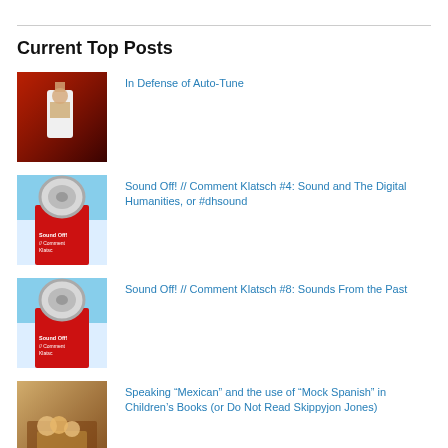Current Top Posts
In Defense of Auto-Tune
Sound Off! // Comment Klatsch #4: Sound and The Digital Humanities, or #dhsound
Sound Off! // Comment Klatsch #8: Sounds From the Past
Speaking “Mexican” and the use of “Mock Spanish” in Children’s Books (or Do Not Read Skippyjon Jones)